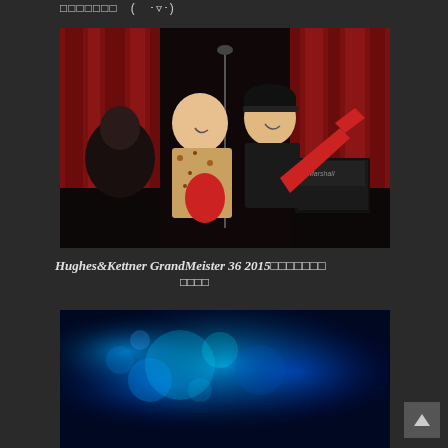□□□□□□□　(　･▿･)
[Figure (photo): Two musicians playing electric guitars on stage, smiling and laughing. Red curtain backdrop. Marshall amplifier visible on right. A third person visible in dark background on left.]
Hughes&Kettner GrandMeister 36 2015□□□□□□□
□□□□
[Figure (photo): Concert scene with blue stage lighting, blurred bokeh effect with bright blue and cyan lights.]